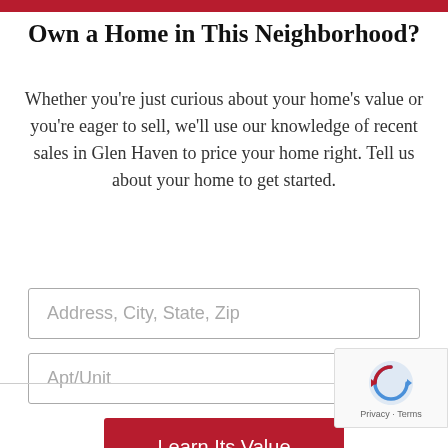Own a Home in This Neighborhood?
Whether you're just curious about your home's value or you're eager to sell, we'll use our knowledge of recent sales in Glen Haven to price your home right. Tell us about your home to get started.
Address, City, State, Zip
Apt/Unit
Learn Its Value
[Figure (logo): reCAPTCHA badge with Google logo icon and Privacy - Terms text]